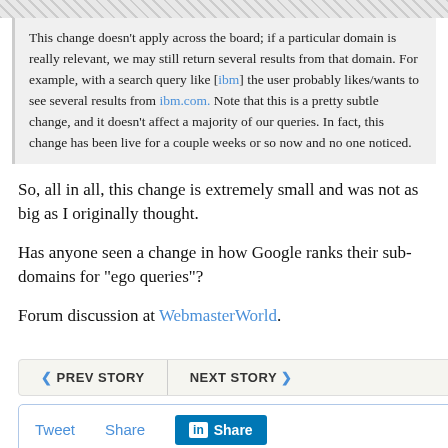This change doesn't apply across the board; if a particular domain is really relevant, we may still return several results from that domain. For example, with a search query like [ibm] the user probably likes/wants to see several results from ibm.com. Note that this is a pretty subtle change, and it doesn't affect a majority of our queries. In fact, this change has been live for a couple weeks or so now and no one noticed.
So, all in all, this change is extremely small and was not as big as I originally thought.
Has anyone seen a change in how Google ranks their sub-domains for "ego queries"?
Forum discussion at WebmasterWorld.